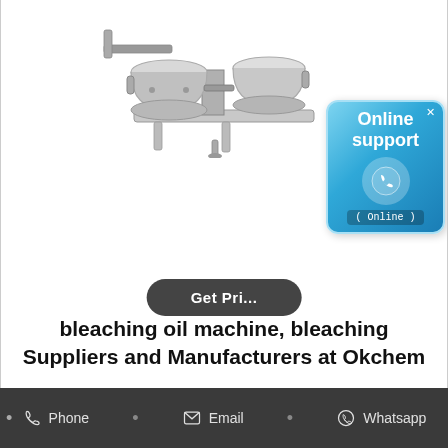[Figure (photo): Industrial bleaching oil machine with stainless steel bowls, photographed from above on white background]
[Figure (other): Online support badge with phone icon and 'Online' label, blue gradient rounded rectangle]
bleaching oil machine, bleaching Suppliers and Manufacturers at Okchem
bleaching oil machine, Wholesale Various High Quality bleaching oil machine Products from Global Sodium Tripolyphosphate Suppliers and bleaching oil machine Factory,Importer,Exporter at Okchem. < Sponsored Listing Pay attention to prevent
Phone • Email • Whatsapp